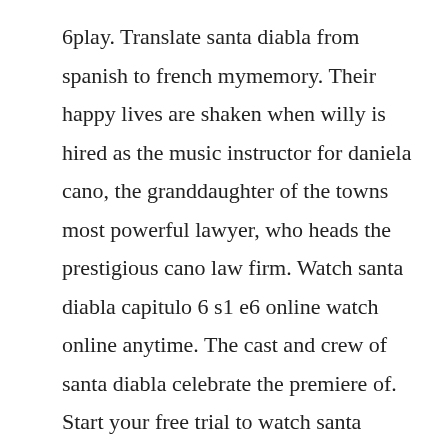6play. Translate santa diabla from spanish to french mymemory. Their happy lives are shaken when willy is hired as the music instructor for daniela cano, the granddaughter of the towns most powerful lawyer, who heads the prestigious cano law firm. Watch santa diabla capitulo 6 s1 e6 online watch online anytime. The cast and crew of santa diabla celebrate the premiere of. Start your free trial to watch santa diabla and other popular tv shows and movies including new releases, classics, hulu originals, and more.